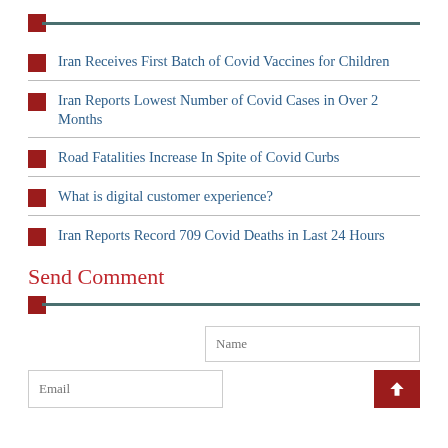Iran Receives First Batch of Covid Vaccines for Children
Iran Reports Lowest Number of Covid Cases in Over 2 Months
Road Fatalities Increase In Spite of Covid Curbs
What is digital customer experience?
Iran Reports Record 709 Covid Deaths in Last 24 Hours
Send Comment
Name input field, Email input field, Back to top button